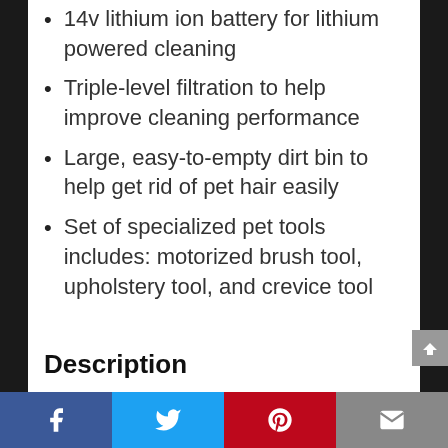14v lithium ion battery for lithium powered cleaning
Triple-level filtration to help improve cleaning performance
Large, easy-to-empty dirt bin to help get rid of pet hair easily
Set of specialized pet tools includes: motorized brush tool, upholstery tool, and crevice tool
Description
Style: Hand Vacuum